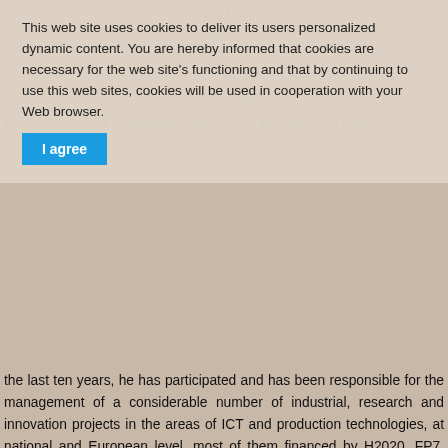Ta  he head of the  and  Ta  ed. In  m  ational Projec  M  e IAT - Andalusian Institute of Technology. During the last ten years, he has participated and has been responsible for the management of a considerable number of industrial, research and innovation projects in the areas of ICT and production technologies, at national and European level, most of them financed by H2020, FP7, FP6, CIP, Interreg Programmes. In 2009 he was appointed as expert-representative in the Spanish delegation to the FP7-NMP Programme Committee. Since 2013 he has worked as independent expert and evaluator for the European Commission (FP7, H2020, EUREKA EUROSTARS). Member of RTD Committee at IIES (Spain Engineering Institute) since 2012. He has developed and given a large number of lectures, training courses and info-days for R&D managers on the management of project proposals to the EU Framewor
This web site uses cookies to deliver its users personalized dynamic content. You are hereby informed that cookies are necessary for the web site's functioning and that by continuing to use this web sites, cookies will be used in cooperation with your Web browser.
I agree